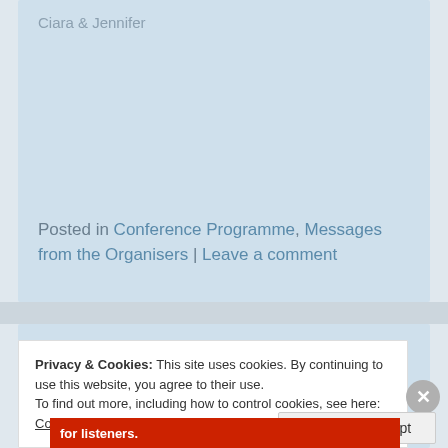Ciara & Jennifer
Posted in Conference Programme, Messages from the Organisers | Leave a comment
Privacy & Cookies: This site uses cookies. By continuing to use this website, you agree to their use.
To find out more, including how to control cookies, see here: Cookie Policy
Close and accept
for listeners.